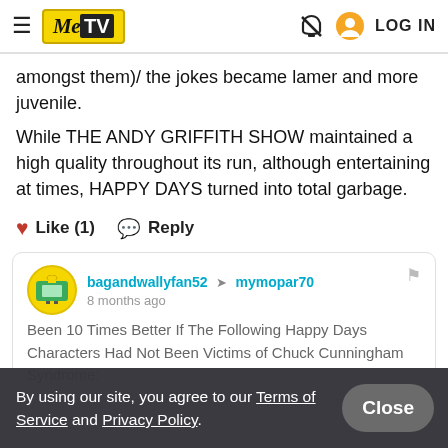MeTV — LOG IN
amongst them)/ the jokes became lamer and more juvenile.
While THE ANDY GRIFFITH SHOW maintained a high quality throughout its run, although entertaining at times, HAPPY DAYS turned into total garbage.
❤ Like (1)   💬 Reply
bagandwallyfan52 → mymopar70
8 months ago
Been 10 Times Better If The Following Happy Days Characters Had Not Been Victims of Chuck Cunningham Syndrome:
By using our site, you agree to our Terms of Service and Privacy Policy.
Close